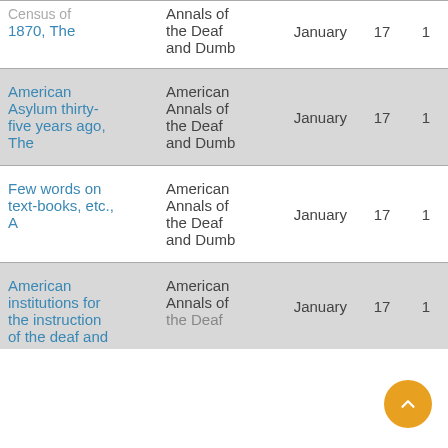| Title | Publication | Month | Vol | No |
| --- | --- | --- | --- | --- |
| Census of 1870, The | Annals of the Deaf and Dumb | January | 17 | 1 |
| American Asylum thirty-five years ago, The | American Annals of the Deaf and Dumb | January | 17 | 1 |
| Few words on text-books, etc., A | American Annals of the Deaf and Dumb | January | 17 | 1 |
| American institutions for the instruction of the deaf and | American Annals of the Deaf and [truncated] | January | 17 | 1 |